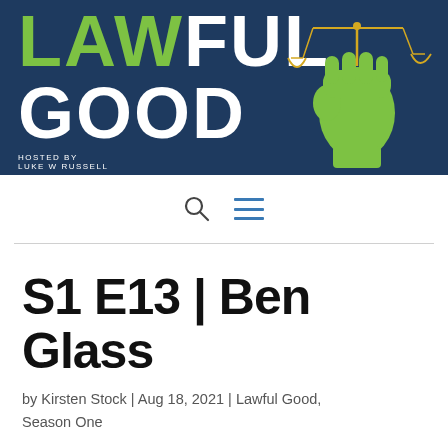[Figure (logo): Lawful Good podcast banner with dark navy background. Logo text 'LAW' in green and 'FUL GOOD' in white bold letters. A green raised fist holding a balanced scale on the right side. Small text 'HOSTED BY LUKE W RUSSELL' below the logo.]
[Figure (other): Navigation bar with search icon (circle with handle) and hamburger menu icon (three horizontal blue lines)]
S1 E13 | Ben Glass
by Kirsten Stock | Aug 18, 2021 | Lawful Good, Season One
Listen and Subscribe